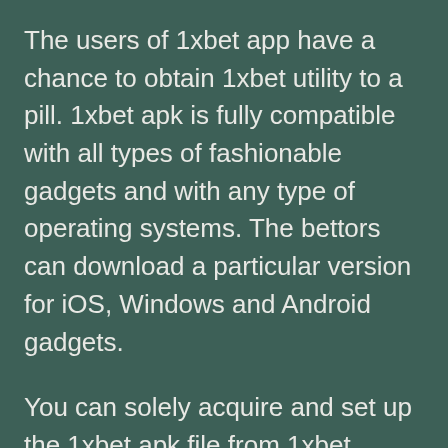The users of 1xbet app have a chance to obtain 1xbet utility to a pill. 1xbet apk is fully compatible with all types of fashionable gadgets and with any type of operating systems. The bettors can download a particular version for iOS, Windows and Android gadgets.
You can solely acquire and set up the 1xbet apk file from 1xbet official web site or affiliated bookmaker web sites. The gaming interface of the cell model helps portrait and landscape mode. The official mobile app is now